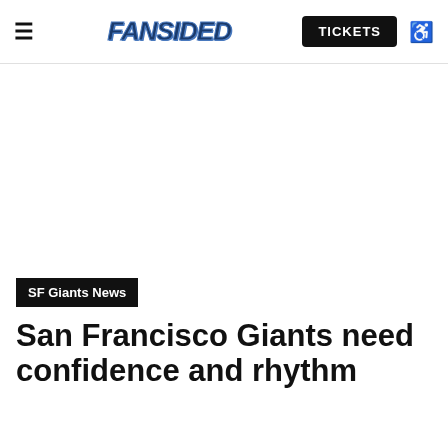≡ FANSIDED | TICKETS ♿
[Figure (other): Advertisement or blank white space area below the navigation header]
SF Giants News
San Francisco Giants need confidence and rhythm